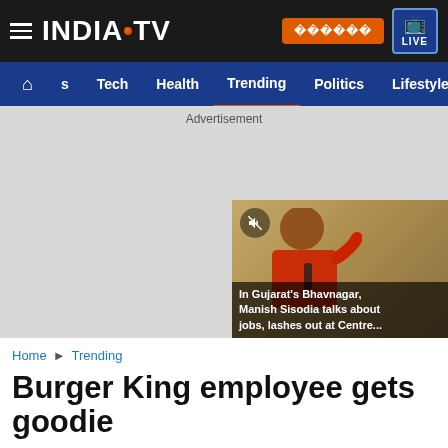INDIA TV — header with navigation: Home, s, Tech, Health, Trending, Politics, Lifestyle
[Figure (screenshot): Advertisement placeholder area (grey) with a video thumbnail in bottom-right showing a man speaking into a microphone with caption: In Gujarat's Bhavnagar, Manish Sisodia talks about jobs, lashes out at Centre...]
In Gujarat's Bhavnagar, Manish Sisodia talks about jobs, lashes out at Centre...
Home ▶ Trending
Burger King employee gets goodie